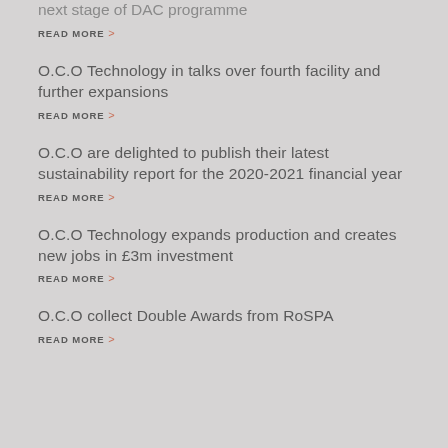next stage of DAC programme
READ MORE >
O.C.O Technology in talks over fourth facility and further expansions
READ MORE >
O.C.O are delighted to publish their latest sustainability report for the 2020-2021 financial year
READ MORE >
O.C.O Technology expands production and creates new jobs in £3m investment
READ MORE >
O.C.O collect Double Awards from RoSPA
READ MORE >